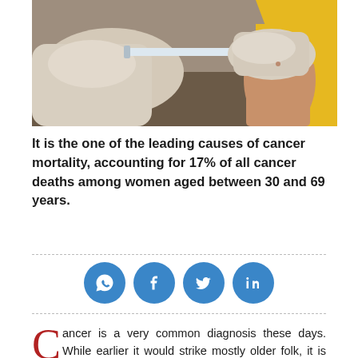[Figure (photo): Close-up photo of a medical professional in white gloves administering a vaccine injection into the upper arm of a person wearing a yellow shirt.]
It is the one of the leading causes of cancer mortality, accounting for 17% of all cancer deaths among women aged between 30 and 69 years.
[Figure (infographic): Social media sharing icons: WhatsApp, Facebook, Twitter, LinkedIn — four blue circles with white icons.]
Cancer is a very common diagnosis these days. While earlier it would strike mostly older folk, it is now killing more and more of the young. Sadly, early diagnosis and treatment remain the only solution.